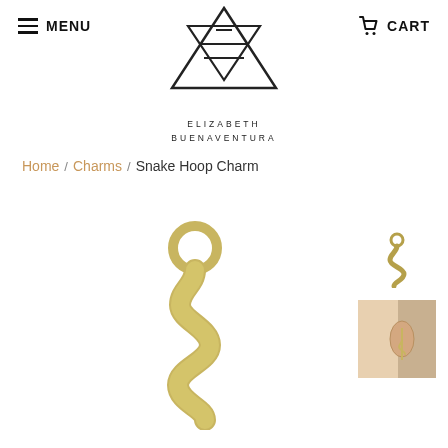MENU   CART
[Figure (logo): Elizabeth Buenaventura logo: geometric triangle/diamond SVG icon above text ELIZABETH BUENAVENTURA]
Home / Charms / Snake Hoop Charm
[Figure (photo): Gold snake hoop charm jewelry piece — a serpent-shaped gold pendant with a circular hoop at the top, shown against white background]
[Figure (photo): Small thumbnail of the snake charm on white background]
[Figure (photo): Thumbnail photo of snake hoop charm worn on a person's ear]